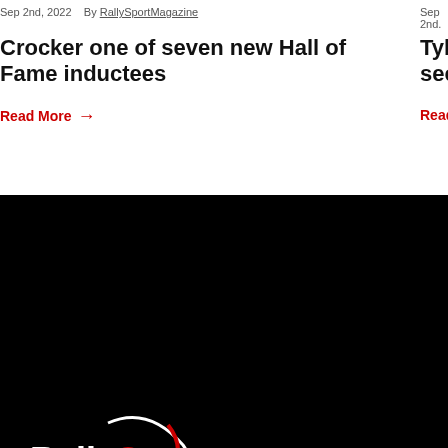Sep 2nd, 2022  By RallySportMagazine
Crocker one of seven new Hall of Fame inductees
Read More →
Tyler's Ma- second w-
Read More →
[Figure (logo): RallySport Mag.com logo — white and red text on black background with swoosh graphic]
The best place to get your rally fix.
[Figure (infographic): Social media icons: YouTube, Twitter, Instagram, Facebook — red outlined circles on black background]
Get exclusive access from